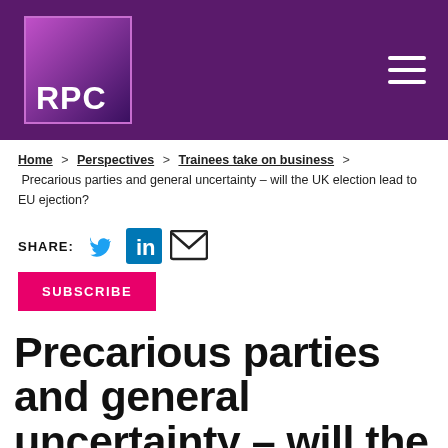RPC
Home > Perspectives > Trainees take on business > Precarious parties and general uncertainty – will the UK election lead to EU ejection?
SHARE:
[Figure (logo): Twitter, LinkedIn, and email share icons]
SUBSCRIBE
Precarious parties and general uncertainty – will the UK election lead to EU ejection?